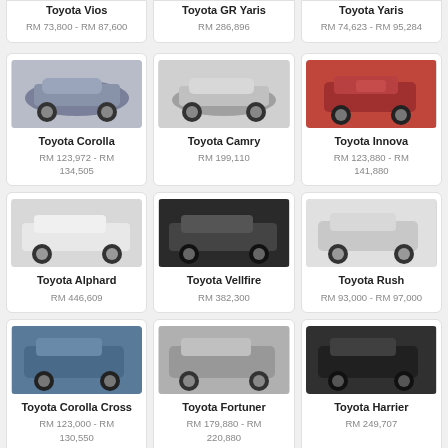Toyota Vios
RM 73,800 - RM 87,600
Toyota GR Yaris
RM 286,896
Toyota Yaris
RM 74,623 - RM 95,284
[Figure (photo): Toyota Corolla car image]
Toyota Corolla
RM 123,972 - RM 134,505
[Figure (photo): Toyota Camry car image]
Toyota Camry
RM 199,110
[Figure (photo): Toyota Innova car image]
Toyota Innova
RM 123,880 - RM 141,880
[Figure (photo): Toyota Alphard car image]
Toyota Alphard
RM 446,609
[Figure (photo): Toyota Vellfire car image]
Toyota Vellfire
RM 382,300
[Figure (photo): Toyota Rush car image]
Toyota Rush
RM 93,000 - RM 97,000
[Figure (photo): Toyota Corolla Cross car image]
Toyota Corolla Cross
RM 123,000 - RM 130,550
[Figure (photo): Toyota Fortuner car image]
Toyota Fortuner
RM 179,880 - RM 220,880
[Figure (photo): Toyota Harrier car image]
Toyota Harrier
RM 249,707